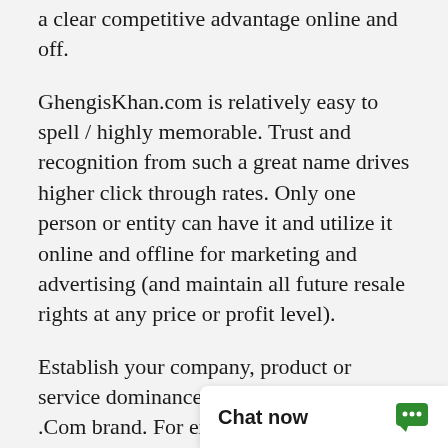a clear competitive advantage online and off.
GhengisKhan.com is relatively easy to spell / highly memorable. Trust and recognition from such a great name drives higher click through rates. Only one person or entity can have it and utilize it online and offline for marketing and advertising (and maintain all future resale rights at any price or profit level).
Establish your company, product or service dominance with an outstanding .Com brand. For existing brands, it is the ideal opportunity to re-enforce and protect your brand.
Marketability
This is an exciting long term branding opportunity
Historically, exact m… higher in relevancy f…